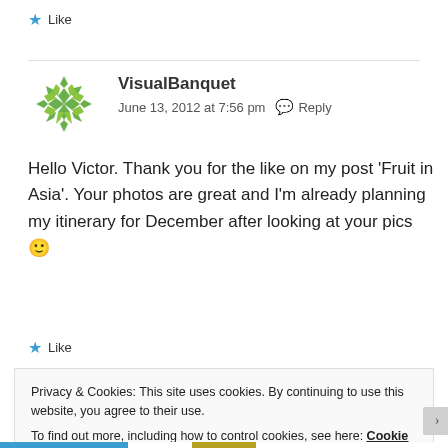★ Like
VisualBanquet
June 13, 2012 at 7:56 pm  Reply
Hello Victor. Thank you for the like on my post 'Fruit in Asia'. Your photos are great and I'm already planning my itinerary for December after looking at your pics 🙂
★ Like
Privacy & Cookies: This site uses cookies. By continuing to use this website, you agree to their use.
To find out more, including how to control cookies, see here: Cookie Policy
Close and accept